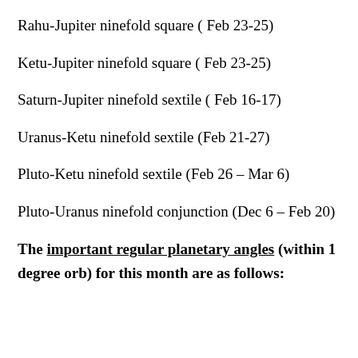Rahu-Jupiter ninefold square ( Feb 23-25)
Ketu-Jupiter ninefold square ( Feb 23-25)
Saturn-Jupiter ninefold sextile ( Feb 16-17)
Uranus-Ketu ninefold sextile (Feb 21-27)
Pluto-Ketu ninefold sextile (Feb 26 – Mar 6)
Pluto-Uranus ninefold conjunction (Dec 6 – Feb 20)
The important regular planetary angles (within 1 degree orb) for this month are as follows: